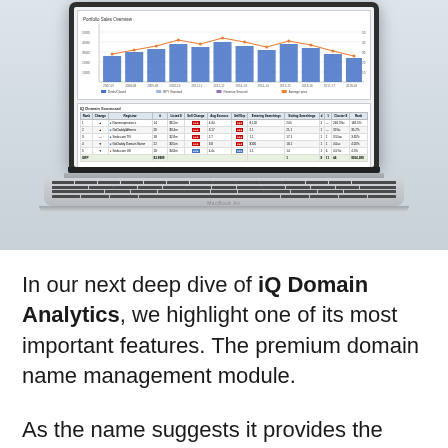[Figure (screenshot): MacBook Air laptop showing a dashboard with a bar and line chart at the top and a data table below, displayed on screen against a light gray background.]
In our next deep dive of iQ Domain Analytics, we highlight one of its most important features. The premium domain name management module.
As the name suggests it provides the functionality and reporting to help you make the most of your premium domain portfolio. So let's